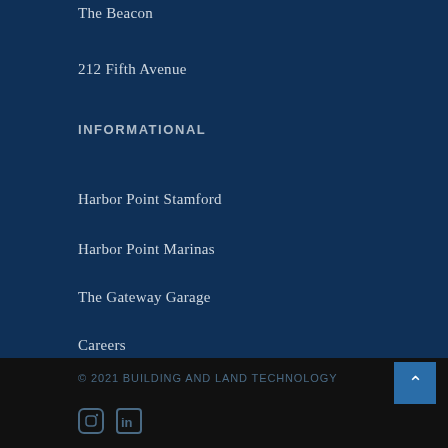The Beacon
212 Fifth Avenue
INFORMATIONAL
Harbor Point Stamford
Harbor Point Marinas
The Gateway Garage
Careers
© 2021 BUILDING AND LAND TECHNOLOGY